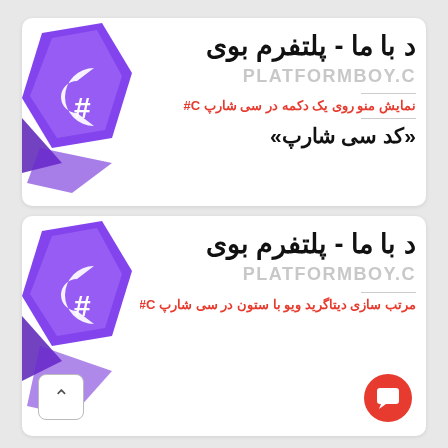[Figure (logo): Card 1: C# PlatformBoy logo (purple hexagon with C# symbol), Persian title text 'د با ما - پلتفرم بوی', watermark 'PLATFORMBOY.C', red link text 'نمایش منو روی یک دکمه در سی شارپ C#', subtitle 'کد سی شارپ»']
[Figure (logo): Card 2: C# PlatformBoy logo (purple hexagon with C# symbol), Persian title text 'د با ما - پلتفرم بوی', watermark 'PLATFORMBOY.C', red link text 'مرتب سازی دیتاگرید ویو با ستون در سی شارپ C#', scroll-up button bottom-left, red chat bubble bottom-right]